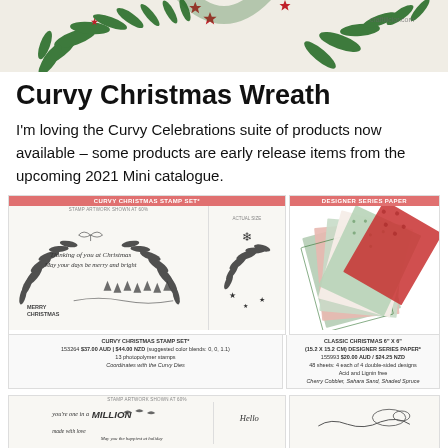[Figure (photo): Top banner image showing a Christmas wreath with red stars and green leaves on a cream background, with a website watermark visible]
Curvy Christmas Wreath
I'm loving the Curvy Celebrations suite of products now available – some products are early release items from the upcoming 2021 Mini catalogue.
[Figure (photo): Product catalog panel showing Curvy Christmas Stamp Set artwork with wreath designs, sentiment text 'Thinking of you at Christmas, May your days be merry and bright', individual stamp images, and Classic Christmas 6x6 Designer Series Paper with layered red and green patterned paper sheets]
CURVY CHRISTMAS STAMP SET* 153264 $37.00 AUD | $44.00 NZD (suggested color blends: 0, 0, 1.1) 12 photopolymer stamps Coordinates with the Curvy Dies — CLASSIC CHRISTMAS 6" X 6" (15.2 X 15.2 CM) DESIGNER SERIES PAPER* 155993 $20.00 AUD / $24.25 NZD 48 sheets: 4 each of 4 double-sided designs Acid and Lignin free Cherry Cobbler, Sahara Sand, Shaded Spruce
[Figure (photo): Bottom partial panel showing another stamp set with 'you're one in a MILLION' text, bird images, 'Hello' script, and die cut shapes]